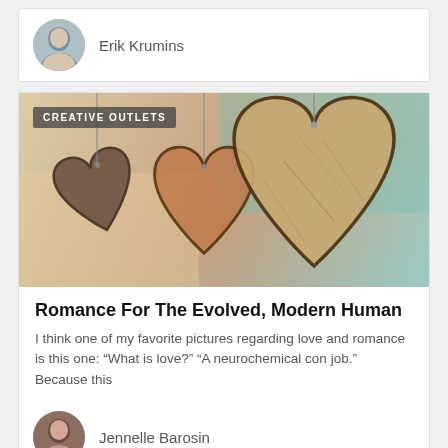Erik Krumins
[Figure (photo): Article header image showing wooden heart decorations hanging, with teal/warm tones. Category tag: CREATIVE OUTLETS]
Romance For The Evolved, Modern Human
I think one of my favorite pictures regarding love and romance is this one: “What is love?” “A neurochemical con job.” Because this
Jennelle Barosin
[Figure (photo): Partial view of another article image with bright colors, category tag: CREATIVE OUTLETS]